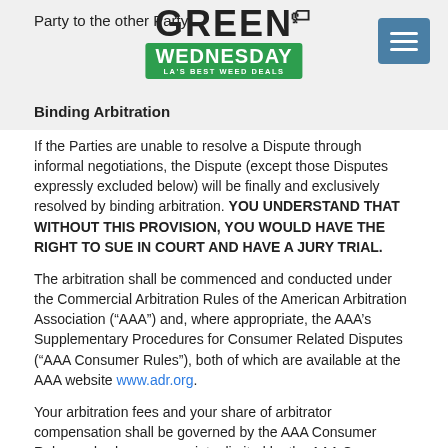Party to the other Party
[Figure (logo): Green Wednesday - LA's Best Weed Deals logo with price tag icon]
Binding Arbitration
If the Parties are unable to resolve a Dispute through informal negotiations, the Dispute (except those Disputes expressly excluded below) will be finally and exclusively resolved by binding arbitration. YOU UNDERSTAND THAT WITHOUT THIS PROVISION, YOU WOULD HAVE THE RIGHT TO SUE IN COURT AND HAVE A JURY TRIAL.
The arbitration shall be commenced and conducted under the Commercial Arbitration Rules of the American Arbitration Association (“AAA”) and, where appropriate, the AAA’s Supplementary Procedures for Consumer Related Disputes (“AAA Consumer Rules”), both of which are available at the AAA website www.adr.org.
Your arbitration fees and your share of arbitrator compensation shall be governed by the AAA Consumer Rules and, where appropriate, limited by the AAA Consumer Rules. If such costs are determined to by the arbitrator to be excessive, we will pay all arbitration fees and expenses.